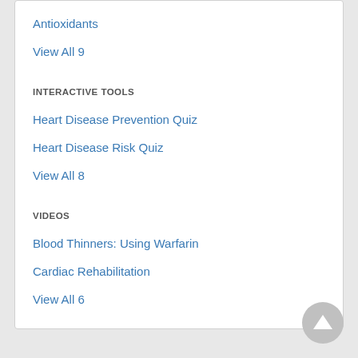Antioxidants
View All 9
INTERACTIVE TOOLS
Heart Disease Prevention Quiz
Heart Disease Risk Quiz
View All 8
VIDEOS
Blood Thinners: Using Warfarin
Cardiac Rehabilitation
View All 6